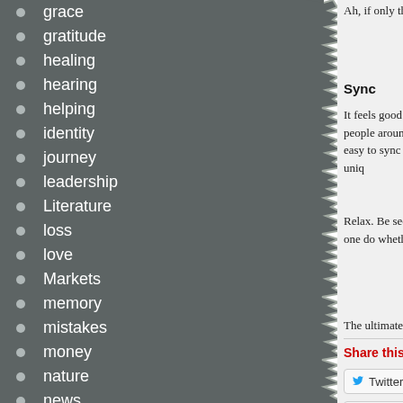grace
gratitude
healing
hearing
helping
identity
journey
leadership
Literature
loss
love
Markets
memory
mistakes
money
nature
news
pain
people
places
plants
Ah, if only the world b
Sync
It feels good to be in sync with the people around us. But it isn't always easy to sync with someone. To be uniq
Relax. Be secure in who you are. You can't please everyone. No one do whether you are lined
The ultimate is to be
Share this:
Twitter
Be the first to like this.
Like